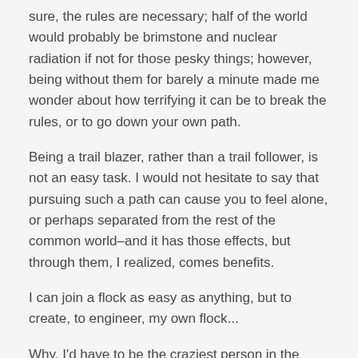sure, the rules are necessary; half of the world would probably be brimstone and nuclear radiation if not for those pesky things; however, being without them for barely a minute made me wonder about how terrifying it can be to break the rules, or to go down your own path.
Being a trail blazer, rather than a trail follower, is not an easy task. I would not hesitate to say that pursuing such a path can cause you to feel alone, or perhaps separated from the rest of the common world–and it has those effects, but through them, I realized, comes benefits.
I can join a flock as easy as anything, but to create, to engineer, my own flock...
Why, I'd have to be the craziest person in the world; I would have to be declared mentally insane–have to be chained to the walls of a prison for the nutty–to want to experience so much isolation.
And mayhaps I am the craziest person in the world.
The way I see it, though–if I can have conviction in what I believe, what